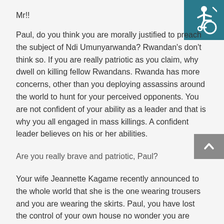Mr!!
[Figure (illustration): Disability accessibility icon — white wheelchair user symbol on teal/dark cyan square background, top-right corner]
Paul, do you think you are morally justified to preach the subject of Ndi Umunyarwanda? Rwandan's don't think so. If you are really patriotic as you claim, why dwell on killing fellow Rwandans. Rwanda has more concerns, other than you deploying assassins around the world to hunt for your perceived opponents. You are not confident of your ability as a leader and that is why you all engaged in mass killings. A confident leader believes on his or her abilities.
Are you really brave and patriotic, Paul?
[Figure (illustration): Gray scroll-to-top button with upward-pointing chevron/caret, positioned at right side]
Your wife Jeannette Kagame recently announced to the whole world that she is the one wearing trousers and you are wearing the skirts. Paul, you have lost the control of your own house no wonder you are failing the Country. Those who grew up with you can test that women have always been your problem since your young days. During your senior four leaver's dance day at Ntare School; all your